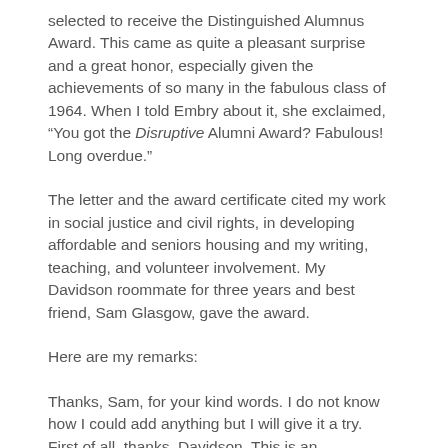selected to receive the Distinguished Alumnus Award. This came as quite a pleasant surprise and a great honor, especially given the achievements of so many in the fabulous class of 1964. When I told Embry about it, she exclaimed, “You got the Disruptive Alumni Award? Fabulous! Long overdue.”
The letter and the award certificate cited my work in social justice and civil rights, in developing affordable and seniors housing and my writing, teaching, and volunteer involvement. My Davidson roommate for three years and best friend, Sam Glasgow, gave the award.
Here are my remarks:
Thanks, Sam, for your kind words. I do not know how I could add anything but I will give it a try. First of all, thanks, Davidson. This is an extraordinary honor for me. Now I have not gotten a whole lot of awards in my lifetime; but even if I had, I would put this one at the top of the list. I know how much many in this room have